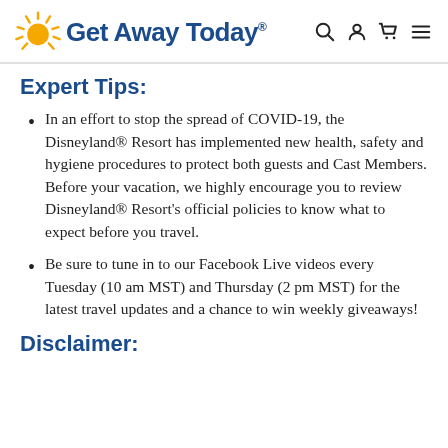Get Away Today®
Expert Tips:
In an effort to stop the spread of COVID-19, the Disneyland® Resort has implemented new health, safety and hygiene procedures to protect both guests and Cast Members. Before your vacation, we highly encourage you to review Disneyland® Resort's official policies to know what to expect before you travel.
Be sure to tune in to our Facebook Live videos every Tuesday (10 am MST) and Thursday (2 pm MST) for the latest travel updates and a chance to win weekly giveaways!
Disclaimer: